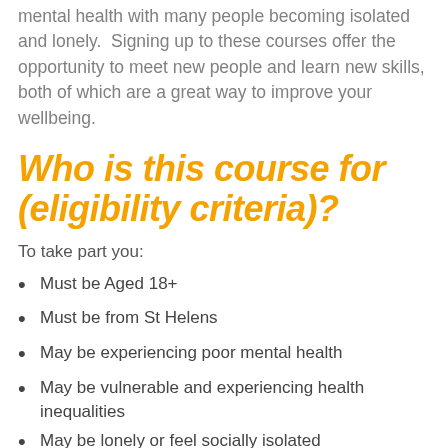mental health with many people becoming isolated and lonely. Signing up to these courses offer the opportunity to meet new people and learn new skills, both of which are a great way to improve your wellbeing.
Who is this course for (eligibility criteria)?
To take part you:
Must be Aged 18+
Must be from St Helens
May be experiencing poor mental health
May be vulnerable and experiencing health inequalities
May be lonely or feel socially isolated